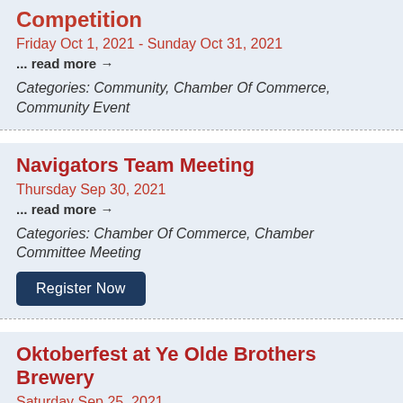Competition
Friday Oct 1, 2021 - Sunday Oct 31, 2021
... read more →
Categories: Community, Chamber Of Commerce, Community Event
Navigators Team Meeting
Thursday Sep 30, 2021
... read more →
Categories: Chamber Of Commerce, Chamber Committee Meeting
Register Now
Oktoberfest at Ye Olde Brothers Brewery
Saturday Sep 25, 2021